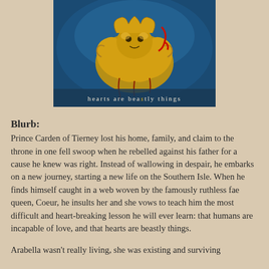[Figure (illustration): Book cover image with a blue background showing a golden ornate beast/lion figure and the tagline 'hearts are beastly things' in white text at the bottom]
Blurb:
Prince Carden of Tierney lost his home, family, and claim to the throne in one fell swoop when he rebelled against his father for a cause he knew was right. Instead of wallowing in despair, he embarks on a new journey, starting a new life on the Southern Isle. When he finds himself caught in a web woven by the famously ruthless fae queen, Coeur, he insults her and she vows to teach him the most difficult and heart-breaking lesson he will ever learn: that humans are incapable of love, and that hearts are beastly things.
Arabella wasn't really living, she was existing and surviving